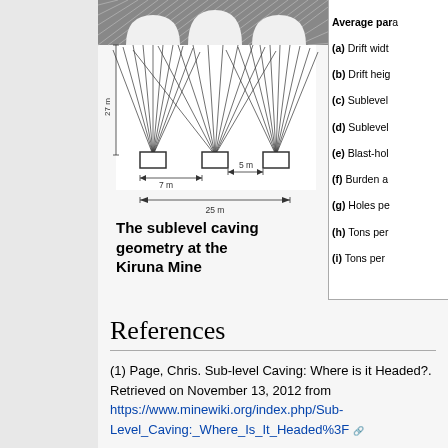[Figure (engineering-diagram): Sublevel caving geometry diagram at Kiruna Mine showing blast holes radiating from drifts, with dimensions: 7m drift spacing, 5m burden, 25m total width, 27m height]
The sublevel caving geometry at the Kiruna Mine
Average parameters: (a) Drift width (b) Drift height (c) Sublevel ... (d) Sublevel ... (e) Blast-hole ... (f) Burden at ... (g) Holes per ... (h) Tons per ... (i) Tons per ... At the Kiruna... spacing is 2... of LKAB's M... spacing is as...
References
(1) Page, Chris. Sub-level Caving: Where is it Headed?. Retrieved on November 13, 2012 from https://www.minewiki.org/index.php/Sub-Level_Caving:_Where_Is_It_Headed%3F
(2) Sublevel Caving. Retrieved on November 15, 2012 from